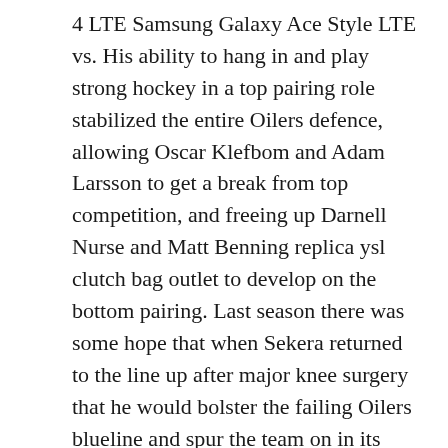4 LTE Samsung Galaxy Ace Style LTE vs. His ability to hang in and play strong hockey in a top pairing role stabilized the entire Oilers defence, allowing Oscar Klefbom and Adam Larsson to get a break from top competition, and freeing up Darnell Nurse and Matt Benning replica ysl clutch bag outlet to develop on the bottom pairing. Last season there was some hope that when Sekera returned to the line up after major knee surgery that he would bolster the failing Oilers blueline and spur the team on in its quest for a playoff spot. As late as Chirstmas 2017, the Oilers still had a reasonable hope of making the 2018 playoffs, but not yves saint laurent replica purse only did Sekera not help the cause, he hurt it immensely. bags ysl replica
replica ysl handbags (in Canada) are inoperative toward yves saint laurent replica bags legal counsels, legal firms